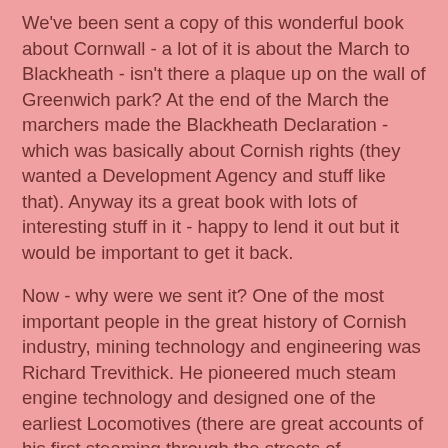We've been sent a copy of this wonderful book about Cornwall - a lot of it is about the March to Blackheath - isn't there a plaque up on the wall of Greenwich park? At the end of the March the marchers made the Blackheath Declaration - which was basically about Cornish rights (they wanted a Development Agency and stuff like that). Anyway its a great book with lots of interesting stuff in it - happy to lend it out but it would be important to get it back.
Now - why were we sent it? One of the most important people in the great history of Cornish industry, mining technology and engineering was Richard Trevithick. He pioneered much steam engine technology and designed one of the earliest Locomotives (there are great accounts of his first steaming through the streets of Cambourne). He has very tangible links with south east London, since he ended his days working for J.&E.Hall and is buried in Dartford.
One of the most important things which happened to his work on steam engine design - and something which can claim to be a milestone in steam engine technology - was the explosion of a boiler in one of his new high pressure engines in 1803. When did this take place? Where was the Cornish...